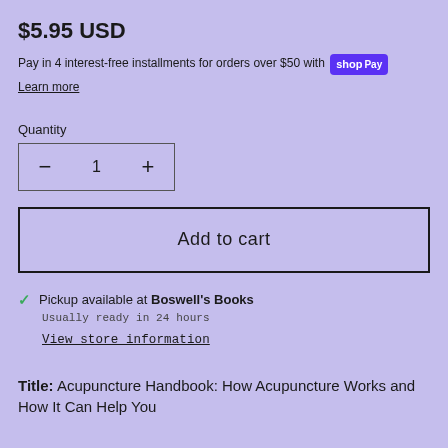$5.95 USD
Pay in 4 interest-free installments for orders over $50 with shop Pay
Learn more
Quantity
Add to cart
✓ Pickup available at Boswell's Books
Usually ready in 24 hours
View store information
Title: Acupuncture Handbook: How Acupuncture Works and How It Can Help You